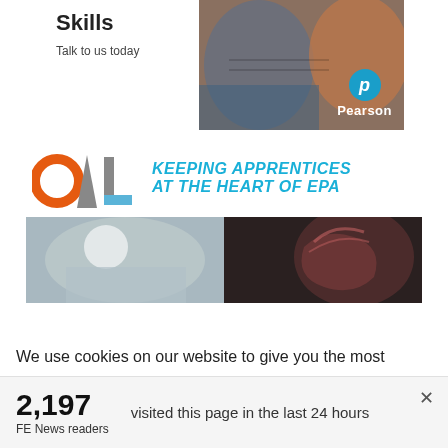[Figure (photo): Pearson advertisement showing two people with text 'Skills' and 'Talk to us today' with Pearson logo]
[Figure (photo): OAL advertisement with logo and text 'KEEPING APPRENTICES AT THE HEART OF EPA' with photo of apprentices]
We use cookies on our website to give you the most relevant experience by remembering your preferences and repeat visits. By clicking “Accept”, you consent to the use of ALL the cookies. However you may visit Cookie
2,197
FE News readers
visited this page in the last 24 hours